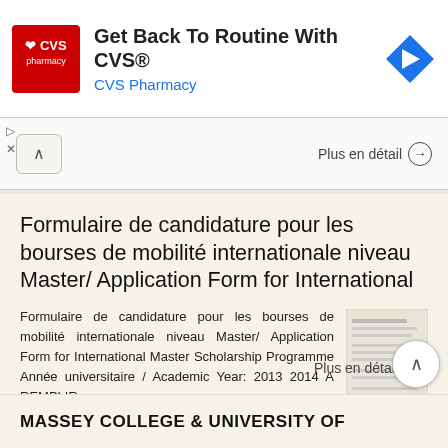[Figure (screenshot): CVS Pharmacy advertisement banner with red logo, text 'Get Back To Routine With CVS® CVS Pharmacy', and a blue navigation arrow icon]
Plus en détail →
Formulaire de candidature pour les bourses de mobilité internationale niveau Master/ Application Form for International
Formulaire de candidature pour les bourses de mobilité internationale niveau Master/ Application Form for International Master Scholarship Programme Année universitaire / Academic Year: 2013 2014 A REMPLIR
Plus en détail →
MASSEY COLLEGE & UNIVERSITY OF